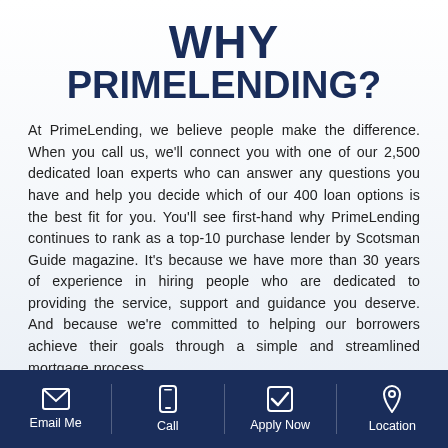WHY PRIMELENDING?
At PrimeLending, we believe people make the difference. When you call us, we'll connect you with one of our 2,500 dedicated loan experts who can answer any questions you have and help you decide which of our 400 loan options is the best fit for you. You'll see first-hand why PrimeLending continues to rank as a top-10 purchase lender by Scotsman Guide magazine. It's because we have more than 30 years of experience in hiring people who are dedicated to providing the service, support and guidance you deserve. And because we're committed to helping our borrowers achieve their goals through a simple and streamlined mortgage process.
Email Me | Call | Apply Now | Location